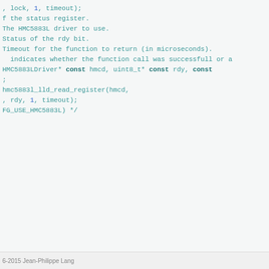, lock, 1, timeout);



f the status register.
The HMC5883L driver to use.
Status of the rdy bit.
Timeout for the function to return (in microseconds).

 indicates whether the function call was successfull or a


HMC5883LDriver* const hmcd, uint8_t* const rdy, const


;

hmc5883l_lld_read_register(hmcd,
, rdy, 1, timeout);



FG_USE_HMC5883L) */
6-2015 Jean-Philippe Lang